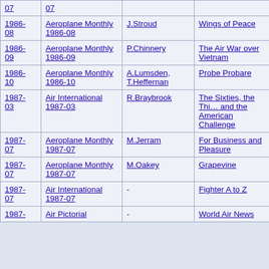| Date | Publication | Author | Title |
| --- | --- | --- | --- |
| 07 | 07 |  |  |
| 1986-08 | Aeroplane Monthly 1986-08 | J.Stroud | Wings of Peace |
| 1986-09 | Aeroplane Monthly 1986-09 | P.Chinnery | The Air War over Vietnam |
| 1986-10 | Aeroplane Monthly 1986-10 | A.Lumsden, T.Heffernan | Probe Probare |
| 1987-03 | Air International 1987-03 | R.Braybrook | The Sixties, the Thi... and the American Challenge |
| 1987-07 | Aeroplane Monthly 1987-07 | M.Jerram | For Business and Pleasure |
| 1987-07 | Aeroplane Monthly 1987-07 | M.Oakey | Grapevine |
| 1987-07 | Air International 1987-07 | - | Fighter A to Z |
| 1987- | Air Pictorial | - | World Air News |